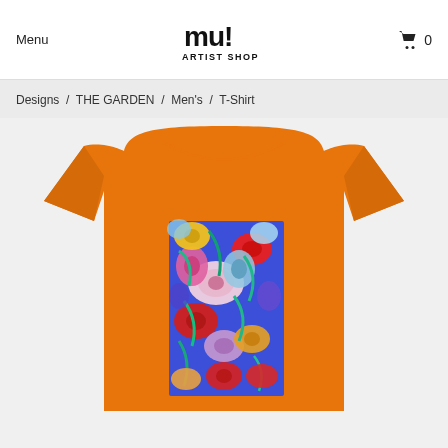Menu  mu! ARTIST SHOP  0
Designs / THE GARDEN / Men's / T-Shirt
[Figure (photo): Orange t-shirt product photo with a colorful floral garden print on a blue background printed on the chest area, displayed flat on white background]